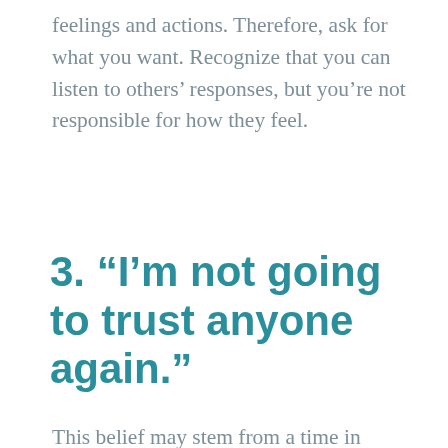feelings and actions. Therefore, ask for what you want. Recognize that you can listen to others' responses, but you're not responsible for how they feel.
3. “I’m not going to trust anyone again.”
This belief may stem from a time in